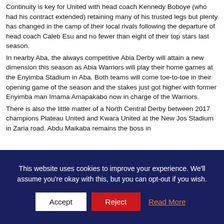Continuity is key for United with head coach Kennedy Boboye (who had his contract extended) retaining many of his trusted legs but plenty has changed in the camp of their local rivals following the departure of head coach Caleb Esu and no fewer than eight of their top stars last season.
In nearby Aba, the always competitive Abia Derby will attain a new dimension this season as Abia Warriors will play their home games at the Enyimba Stadium in Aba. Both teams will come toe-to-toe in their opening game of the season and the stakes just got higher with former Enyimba man Imama Amapakabo now in charge of the Warriors.
There is also the little matter of a North Central Derby between 2017 champions Plateau United and Kwara United at the New Jos Stadium in Zaria road. Abdu Maikaba remains the boss in
This website uses cookies to improve your experience. We'll assume you're okay with this, but you can opt-out if you wish.
Accept | Reject | Read More